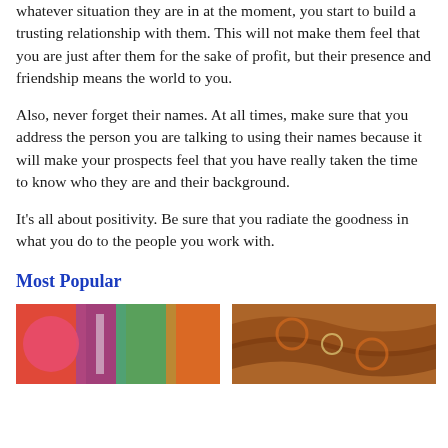whatever situation they are in at the moment, you start to build a trusting relationship with them. This will not make them feel that you are just after them for the sake of profit, but their presence and friendship means the world to you.
Also, never forget their names. At all times, make sure that you address the person you are talking to using their names because it will make your prospects feel that you have really taken the time to know who they are and their background.
It's all about positivity. Be sure that you radiate the goodness in what you do to the people you work with.
Most Popular
[Figure (photo): Photo on the left under Most Popular section showing a colorful scene with red, green, and blue tones]
[Figure (photo): Photo on the right under Most Popular section showing ornate patterned architecture with warm brown and amber tones]